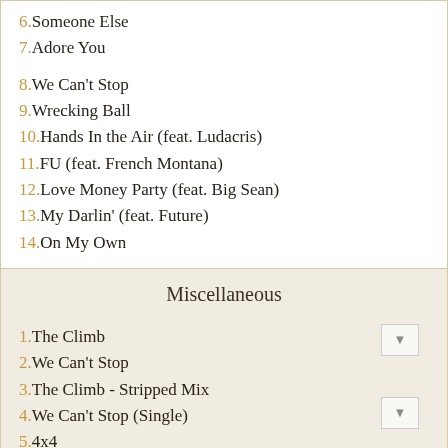6.Someone Else
7.Adore You
8.We Can't Stop
9.Wrecking Ball
10.Hands In the Air (feat. Ludacris)
11.FU (feat. French Montana)
12.Love Money Party (feat. Big Sean)
13.My Darlin' (feat. Future)
14.On My Own
Miscellaneous
1.The Climb
2.We Can't Stop
3.The Climb - Stripped Mix
4.We Can't Stop (Single)
5.4x4
6.Every Rose Has A Thorn